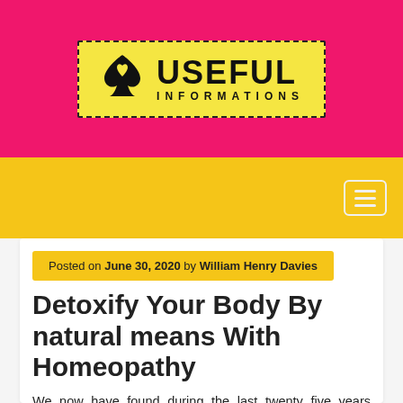[Figure (logo): Useful Informations logo: yellow dashed-border box with black spade/diamond icon and bold text USEFUL INFORMATIONS on pink background]
Navigation bar with hamburger menu icon on yellow background
Posted on June 30, 2020 by William Henry Davies
Detoxify Your Body By natural means With Homeopathy
We now have found during the last twenty five years cleansing